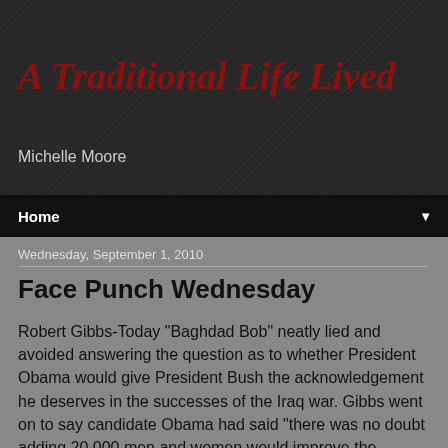A Traditional Life Lived
Michelle Moore
Home
Wednesday, September 1, 2010
Face Punch Wednesday
Robert Gibbs-Today "Baghdad Bob" neatly lied and avoided answering the question as to whether President Obama would give President Bush the acknowledgement he deserves in the successes of the Iraq war. Gibbs went on to say candidate Obama had said "there was no doubt adding 20,000 men and women would improve the situation." In fact, in 2007, then-Senator Obama said the surge of troops